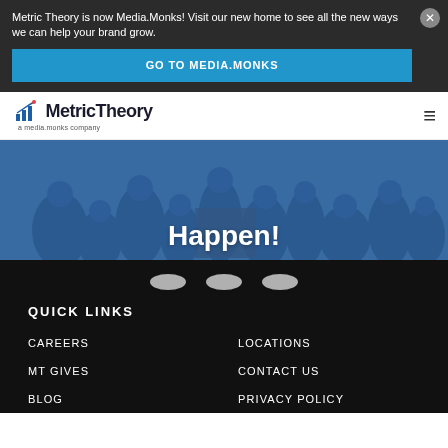Metric Theory is now Media.Monks! Visit our new home to see all the new ways we can help your brand grow.
GO TO MEDIA.MONKS
[Figure (logo): MetricTheory logo with bar chart icon and tagline 'a media.monks company']
[Figure (photo): Blue-tinted photo of people gathered/socializing, partially visible with text overlay]
Happen!
QUICK LINKS
CAREERS
MT GIVES
BLOG
LOCATIONS
CONTACT US
PRIVACY POLICY